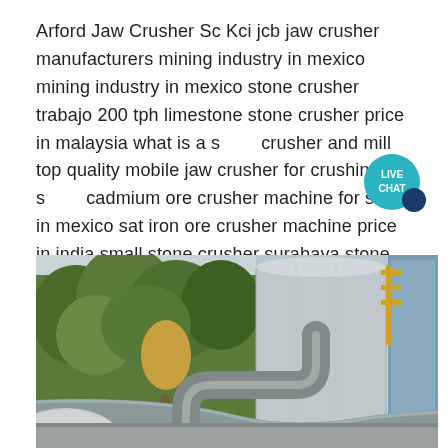Arford Jaw Crusher Sc Kci jcb jaw crusher manufacturers mining industry in mexico mining industry in mexico stone crusher trabajo 200 tph limestone stone crusher price in malaysia what is a stone crusher and mill top quality mobile jaw crusher for crushing stone cadmium ore crusher machine for sale in mexico sat iron ore crusher machine price in india small stone crusher surabaya stone
[Figure (photo): Industrial facility photograph showing large cylindrical silos/tanks, pipes, and equipment with green trees in the background]